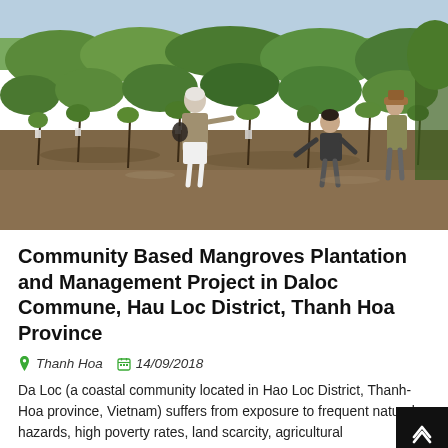[Figure (photo): People working in a coastal mangrove plantation area with muddy water and young mangrove trees. A person with white/grey hair in the center is gesturing, others are working in the background.]
Community Based Mangroves Plantation and Management Project in Daloc Commune, Hau Loc District, Thanh Hoa Province
📍 Thanh Hoa   📅 14/09/2018
Da Loc (a coastal community located in Hao Loc District, Thanh-Hoa province, Vietnam) suffers from exposure to frequent natural hazards, high poverty rates, land scarcity, agricultural